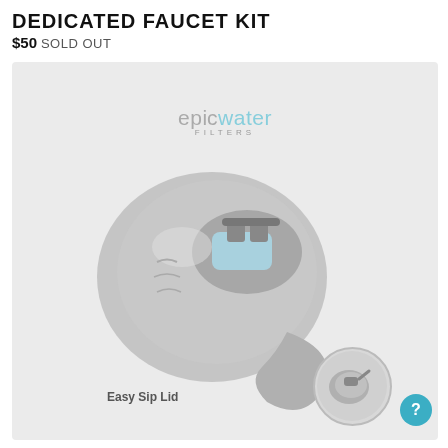DEDICATED FAUCET KIT
$50 SOLD OUT
[Figure (photo): Epic Water Filters dedicated faucet kit product photo showing a gray easy sip lid cap/faucet attachment with blue filter element visible inside, photographed on light gray background with Epic Water Filters logo above. Bottom right shows a smaller circular thumbnail of the same product from a different angle.]